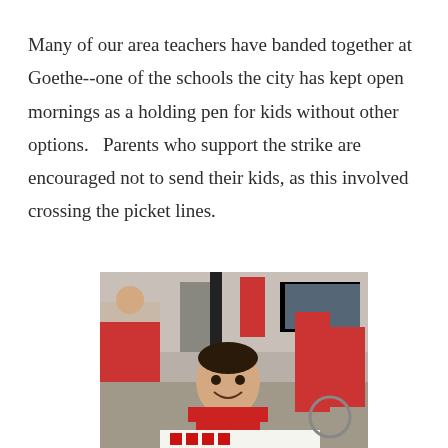Many of our area teachers have banded together at Goethe--one of the schools the city has kept open mornings as a holding pen for kids without other options.   Parents who support the strike are encouraged not to send their kids, as this involved crossing the picket lines.
[Figure (photo): A young boy in a red shirt smiling and holding a sign at what appears to be a teachers strike picket. Adults and other children in red shirts are visible in the background along with a street scene.]